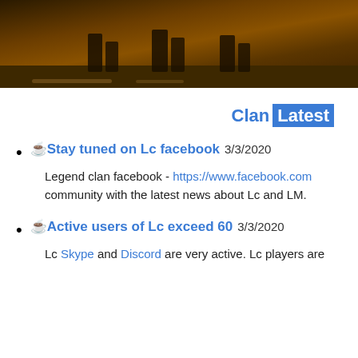[Figure (photo): Photo strip showing legs/feet of people standing on a ground surface, warm sepia/orange toned lighting, bottom portion of the image visible]
Clan Latest
☕Stay tuned on Lc facebook 3/3/2020
Legend clan facebook - https://www.facebook.com community with the latest news about Lc and LM.
☕Active users of Lc exceed 60 3/3/2020
Lc Skype and Discord are very active. Lc players are